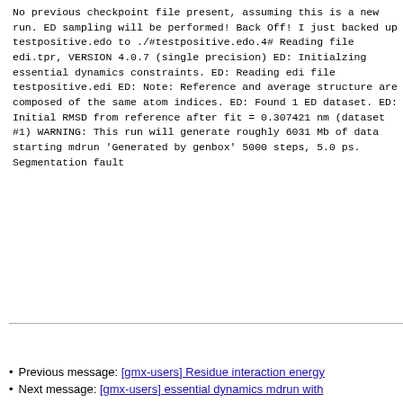No previous checkpoint file present, assuming this is a new run.

ED sampling will be performed!

Back Off! I just backed up testpositive.edo to ./#testpositive.edo.4#
Reading file edi.tpr, VERSION 4.0.7 (single precision)
ED: Initialzing essential dynamics constraints.
ED: Reading edi file testpositive.edi
ED: Note: Reference and average structure are composed of the same
atom indices.
ED: Found 1 ED dataset.
ED: Initial RMSD from reference after fit = 0.307421 nm
(dataset #1)

WARNING: This run will generate roughly 6031 Mb of data

starting mdrun 'Generated by genbox'
5000 steps,      5.0 ps.
Segmentation fault
Previous message: [gmx-users] Residue interaction energy
Next message: [gmx-users] essential dynamics mdrun with